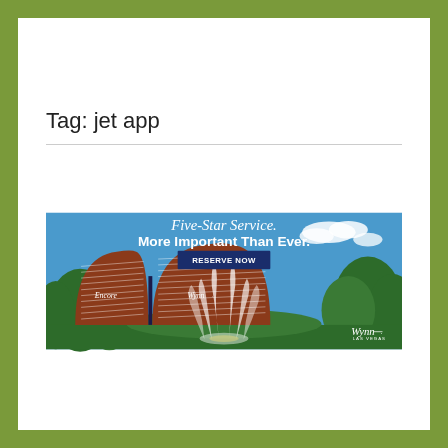Tag: jet app
[Figure (illustration): Wynn Las Vegas hotel advertisement showing the Encore and Wynn resort towers with fountain and trees. Text reads 'Five-Star Service. More Important Than Ever.' with a dark blue 'RESERVE NOW' button. Wynn Las Vegas logo in bottom right.]